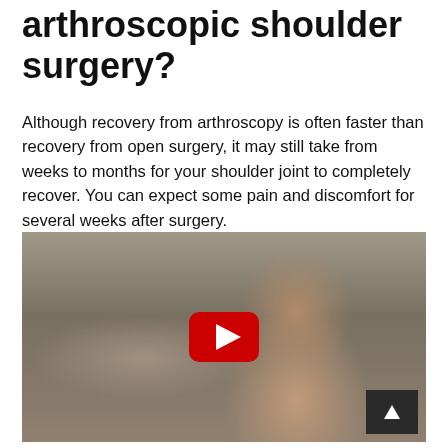arthroscopic shoulder surgery?
Although recovery from arthroscopy is often faster than recovery from open surgery, it may still take from weeks to months for your shoulder joint to completely recover. You can expect some pain and discomfort for several weeks after surgery.
[Figure (photo): A YouTube video thumbnail showing a smiling man with a hospital wristband, appearing to demonstrate shoulder mobility after surgery. A red YouTube play button is overlaid in the center, and a dark scroll arrow button is in the bottom right corner.]